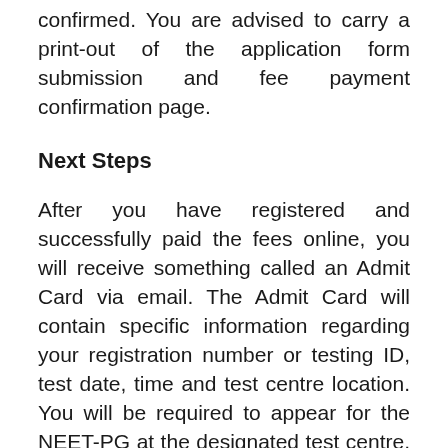confirmed. You are advised to carry a print-out of the application form submission and fee payment confirmation page.
Next Steps
After you have registered and successfully paid the fees online, you will receive something called an Admit Card via email. The Admit Card will contain specific information regarding your registration number or testing ID, test date, time and test centre location. You will be required to appear for the NEET-PG at the designated test centre, on the date and time displayed on your Admit Card.